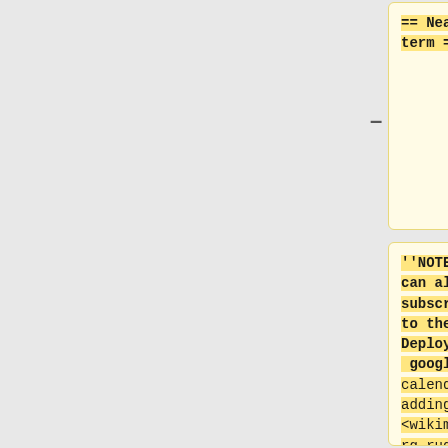== Near-term ==
|when=2022-05-16 00:00 SF
''NOTE: You can also subscribe to the "WMF Deployments" google calendar by adding <wikimedia.org_rudis09ii2mm5fk4hgdjeh1u64@group.calendar.google.com>. This does not always get one-off
|length=1